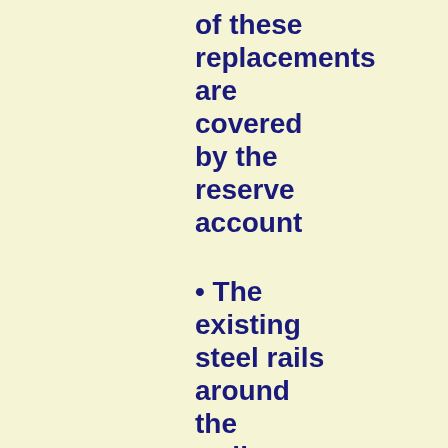of these replacements are covered by the reserve account
• The existing steel rails around the walkways at the WWTP had deteriorated to the point of being